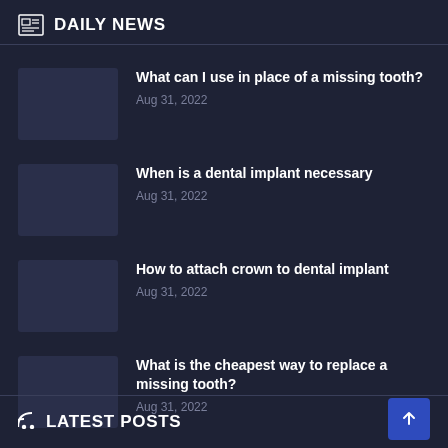DAILY NEWS
What can I use in place of a missing tooth? | Aug 31, 2022
When is a dental implant necessary | Aug 31, 2022
How to attach crown to dental implant | Aug 31, 2022
What is the cheapest way to replace a missing tooth? | Aug 31, 2022
LATEST POSTS